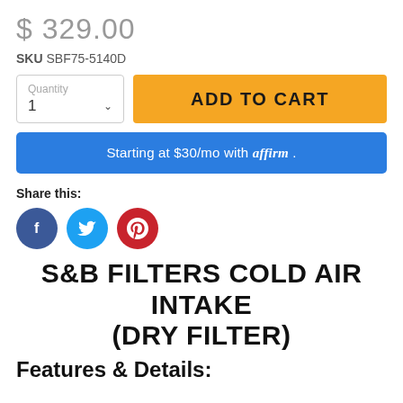$ 329.00
SKU SBF75-5140D
ADD TO CART
Starting at $30/mo with affirm .
Share this:
[Figure (illustration): Three social media icons: Facebook (dark blue circle with 'f'), Twitter (light blue circle with bird), Pinterest (red circle with 'p')]
S&B FILTERS COLD AIR INTAKE (DRY FILTER)
Features & Details: